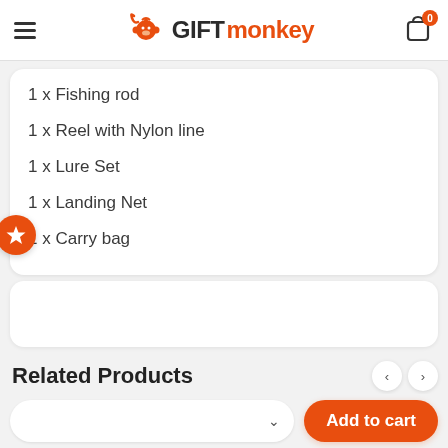GIFTmonkey
1 x Fishing rod
1 x Reel with Nylon line
1 x Lure Set
1 x Landing Net
1 x Carry bag
Related Products
Add to cart